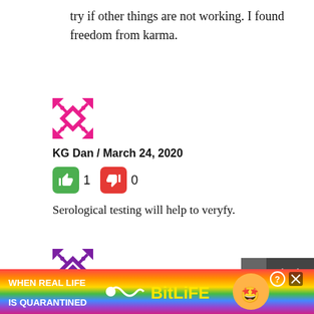try if other things are not working. I found freedom from karma.
[Figure (illustration): Pink/magenta decorative avatar icon with geometric cross/diamond pattern]
KG Dan / March 24, 2020
[Figure (infographic): Thumbs up (green) count 1, thumbs down (red) count 0 voting buttons]
Serological testing will help to veryfy.
[Figure (illustration): Purple decorative avatar icon with geometric cross/diamond pattern]
[Figure (infographic): BitLife advertisement banner with rainbow gradient background and text: WHEN REAL LIFE IS QUARANTINED, BitLife logo in yellow]